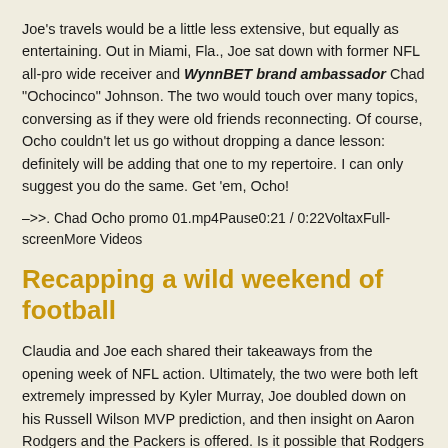Joe's travels would be a little less extensive, but equally as entertaining. Out in Miami, Fla., Joe sat down with former NFL all-pro wide receiver and WynnBET brand ambassador Chad "Ochocinco" Johnson. The two would touch over many topics, conversing as if they were old friends reconnecting. Of course, Ocho couldn't let us go without dropping a dance lesson: definitely will be adding that one to my repertoire. I can only suggest you do the same. Get 'em, Ocho!
–>>. Chad Ocho promo 01.mp4Pause0:21 / 0:22VoltaxFullscreenMore Videos
Recapping a wild weekend of football
Claudia and Joe each shared their takeaways from the opening week of NFL action. Ultimately, the two were both left extremely impressed by Kyler Murray, Joe doubled down on his Russell Wilson MVP prediction, and then insight on Aaron Rodgers and the Packers is offered. Is it possible that Rodgers could have other plans in Green Bay? Well, how susceptible to conspiracy theories are you? But be sure to watch the FULL EPISODE for all the